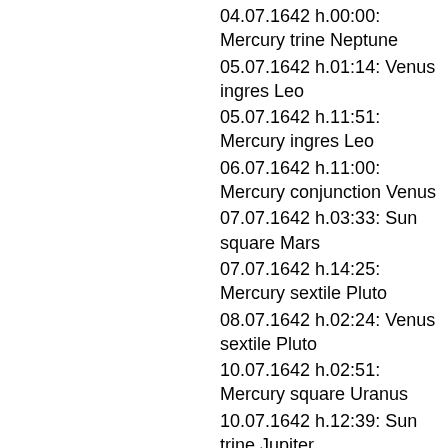04.07.1642 h.00:00: Mercury trine Neptune
05.07.1642 h.01:14: Venus ingres Leo
05.07.1642 h.11:51: Mercury ingres Leo
06.07.1642 h.11:00: Mercury conjunction Venus
07.07.1642 h.03:33: Sun square Mars
07.07.1642 h.14:25: Mercury sextile Pluto
08.07.1642 h.02:24: Venus sextile Pluto
10.07.1642 h.02:51: Mercury square Uranus
10.07.1642 h.12:39: Sun trine Jupiter
11.07.1642 h.02:42: Sun opposition Ceres
11.07.1642 h.13:39: Venus square Uranus
12.07.1642 h.15:33: Mars square Ceres
13.07.1642 h.21:15: Ceres sextile